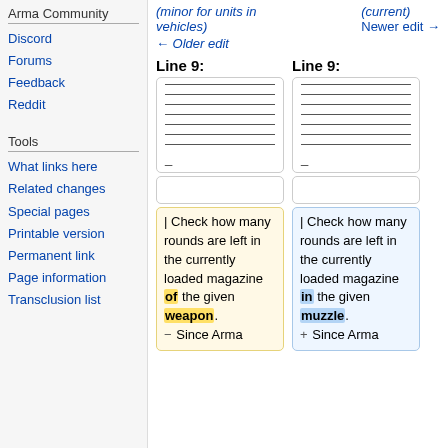Arma Community
Discord
Forums
Feedback
Reddit
Tools
What links here
Related changes
Special pages
Printable version
Permanent link
Page information
Transclusion list
(minor for units in vehicles) ← Older edit
(current) Newer edit →
Line 9:
Line 9:
| Check how many rounds are left in the currently loaded magazine of the given weapon.
− Since Arma
| Check how many rounds are left in the currently loaded magazine in the given muzzle.
+ Since Arma